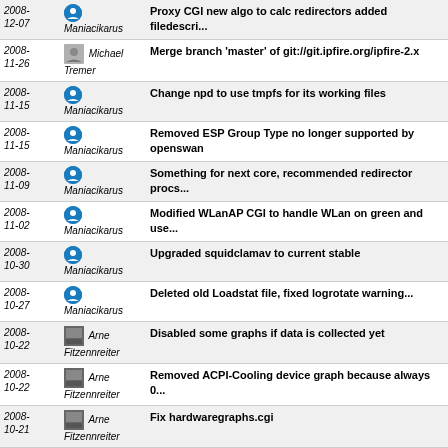| Date | Author | Message |
| --- | --- | --- |
| 2008-12-07 | Maniacikarus | Proxy CGI new algo to calc redirectors added filedescri... |
| 2008-11-26 | Michael Tremer | Merge branch 'master' of git://git.ipfire.org/ipfire-2.x |
| 2008-11-15 | Maniacikarus | Change npd to use tmpfs for its working files |
| 2008-11-15 | Maniacikarus | Removed ESP Group Type no longer supported by openswan |
| 2008-11-09 | Maniacikarus | Something for next core, recommended redirector procs... |
| 2008-11-02 | Maniacikarus | Modified WLanAP CGI to handle WLan on green and use... |
| 2008-10-30 | Maniacikarus | Upgraded squidclamav to current stable |
| 2008-10-27 | Maniacikarus | Deleted old Loadstat file, fixed logrotate warning... |
| 2008-10-22 | Arne Fitzennreiter | Disabled some graphs if data is collected yet |
| 2008-10-22 | Arne Fitzennreiter | Removed ACPI-Cooling device graph because always 0... |
| 2008-10-21 | Arne Fitzennreiter | Fix hardwaregraphs.cgi |
next
Timo's tree of IPFire 2.x